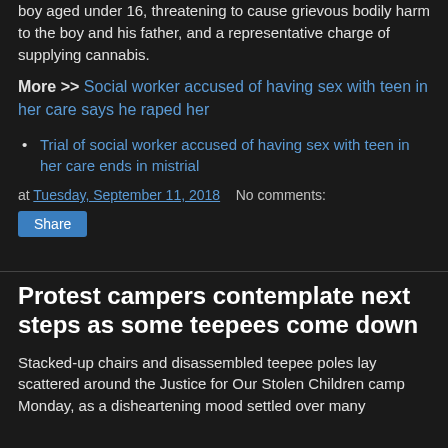boy aged under 16, threatening to cause grievous bodily harm to the boy and his father, and a representative charge of supplying cannabis.
More >> Social worker accused of having sex with teen in her care says he raped her
Trial of social worker accused of having sex with teen in her care ends in mistrial
at Tuesday, September 11, 2018   No comments:
Share
Protest campers contemplate next steps as some teepees come down
Stacked-up chairs and disassembled teepee poles lay scattered around the Justice for Our Stolen Children camp Monday, as a disheartening mood settled over many